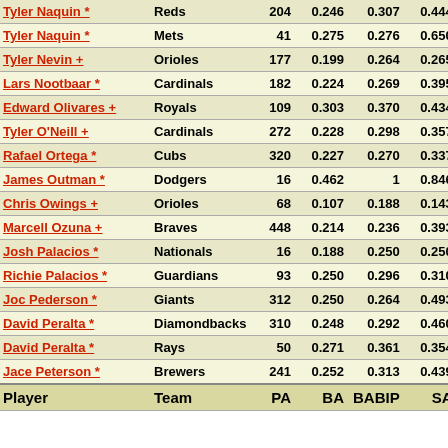| Player | Team | PA | BA | BABIP | SA | HA |
| --- | --- | --- | --- | --- | --- | --- |
| Tyler Naquin * | Reds | 204 | 0.246 | 0.307 | 0.444 | 0.225 |
| Tyler Naquin * | Mets | 41 | 0.275 | 0.276 | 0.650 | 0.268 |
| Tyler Nevin + | Orioles | 177 | 0.199 | 0.264 | 0.265 | 0.169 |
| Lars Nootbaar * | Cardinals | 182 | 0.224 | 0.269 | 0.395 | 0.187 |
| Edward Olivares + | Royals | 109 | 0.303 | 0.370 | 0.434 | 0.275 |
| Tyler O'Neill + | Cardinals | 272 | 0.228 | 0.298 | 0.357 | 0.202 |
| Rafael Ortega * | Cubs | 320 | 0.227 | 0.270 | 0.337 | 0.194 |
| James Outman * | Dodgers | 16 | 0.462 | 1 | 0.846 | 0.375 |
| Chris Owings + | Orioles | 68 | 0.107 | 0.188 | 0.143 | 0.088 |
| Marcell Ozuna + | Braves | 448 | 0.214 | 0.236 | 0.393 | 0.195 |
| Josh Palacios * | Nationals | 16 | 0.188 | 0.250 | 0.250 | 0.188 |
| Richie Palacios * | Guardians | 93 | 0.250 | 0.296 | 0.310 | 0.220 |
| Joc Pederson * | Giants | 312 | 0.250 | 0.264 | 0.493 | 0.222 |
| David Peralta * | Diamondbacks | 310 | 0.248 | 0.292 | 0.460 | 0.222 |
| David Peralta * | Rays | 50 | 0.271 | 0.361 | 0.354 | 0.260 |
| Jace Peterson * | Brewers | 241 | 0.252 | 0.313 | 0.439 | 0.224 |